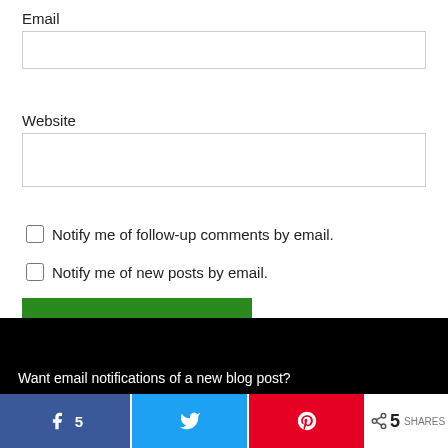Email
Website
Notify me of follow-up comments by email.
Notify me of new posts by email.
POST COMMENT
Want email notifications of a new blog post?
5 SHARES